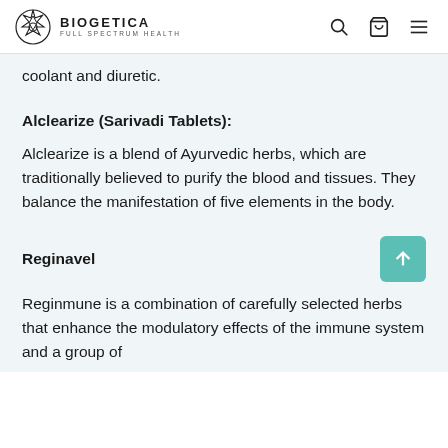BIOGETICA FULL SPECTRUM HEALTH
coolant and diuretic.
Alclearize (Sarivadi Tablets):
Alclearize is a blend of Ayurvedic herbs, which are traditionally believed to purify the blood and tissues. They balance the manifestation of five elements in the body.
Reginavel
Reginmune is a combination of carefully selected herbs that enhance the modulatory effects of the immune system and a group of